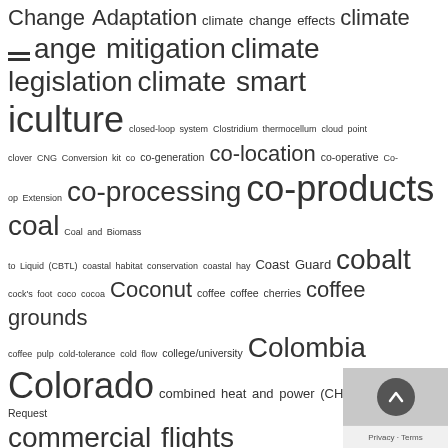Change Adaptation climate change effects climate change mitigation climate legislation climate smart agriculture closed-loop system Clostridium thermocellum cloud point clover CNG Conversion kit co co-generation co-location co-operative Co-op Extension co-processing co-products coal Coal and Biomass to Liquid (CBTL) coastal habitat conservation coastal hay Coast Guard cobalt cock's foot coco cocoa Coconut coffee coffee cherries coffee grounds coffee pulp cold-tolerance cold flow college/university Colombia Colorado combined heat and power (CHP) Comment Request commercial flights commercialization commissioning Commodity Credit Corporation (CCC) Commodity Futures Trading Commission (CFTC) commodity trading common reed Community activity community college Community involvement community scale Community Wood Energy Program competition compliance compliance credits compost Compressed Natural Gas (CNG/R-CNG/bioCNG) compression-ignition engine compression ratios computer simulation concrete condensate Congo Congressional Budget Office (CBO) Connecticut Conservation Reserve Program (CRP) Conservation Stewardship Program construction and demolition waste/debris consumer education contamination contest contrails conversion technology cooking fuel Cook Islands cook stoves cooperatives COP21